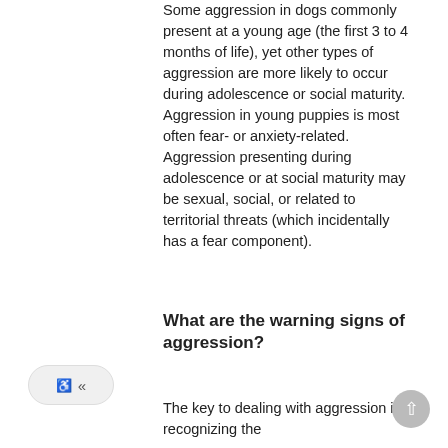Some aggression in dogs commonly present at a young age (the first 3 to 4 months of life), yet other types of aggression are more likely to occur during adolescence or social maturity. Aggression in young puppies is most often fear- or anxiety-related. Aggression presenting during adolescence or at social maturity may be sexual, social, or related to territorial threats (which incidentally has a fear component).
What are the warning signs of aggression?
The key to dealing with aggression is recognizing the